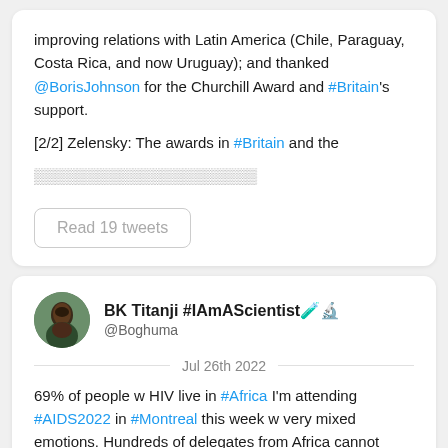improving relations with Latin America (Chile, Paraguay, Costa Rica, and now Uruguay); and thanked @BorisJohnson for the Churchill Award and #Britain's support.

[2/2] Zelensky: The awards in #Britain and the ...
Read 19 tweets
BK Titanji #IAmAScientist @Boghuma
Jul 26th 2022
69% of people w HIV live in #Africa I'm attending #AIDS2022 in #Montreal this week w very mixed emotions. Hundreds of delegates from Africa cannot attend due to visa denials. Global health which excludes important